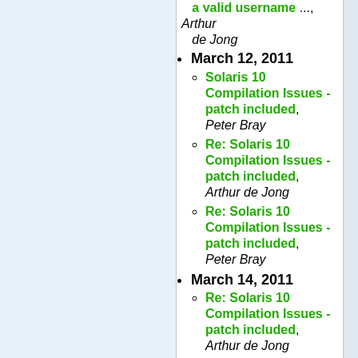a valid username ..., Arthur de Jong (fragment at top)
March 12, 2011
Solaris 10 Compilation Issues - patch included, Peter Bray
Re: Solaris 10 Compilation Issues - patch included, Arthur de Jong
Re: Solaris 10 Compilation Issues - patch included, Peter Bray
March 14, 2011
Re: Solaris 10 Compilation Issues - patch included, Arthur de Jong
Re: Solaris 10 Compilation Issues - patch included, Peter Bray
March 16, 2011
Syslog states ldap_result() failed: Can't contact LDAP server, Teichert, Robert
Re: Syslog states ldap_result() failed: Can't contact LDAP server, Arthur (fragment)